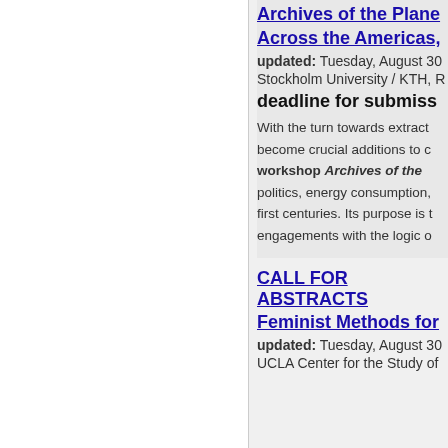Archives of the Plane
Across the Americas,
updated: Tuesday, August 30
Stockholm University / KTH, R
deadline for submiss
With the turn towards extract
become crucial additions to c
workshop Archives of the
politics, energy consumption,
first centuries. Its purpose is t
engagements with the logic o
CALL FOR ABSTRACTS
Feminist Methods for
updated: Tuesday, August 30
UCLA Center for the Study of